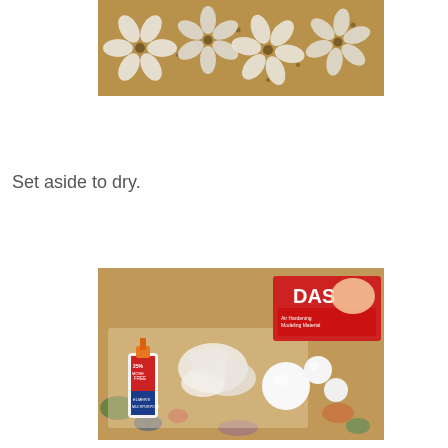[Figure (photo): Close-up photo of a textured surface with white painted or molded flower/petal shapes on a brown/tan background]
Set aside to dry.
[Figure (photo): Photo of craft supplies on a painted work surface including a bottle of Elmer's glue, a DAS air-dry clay package, white clay/paper scraps, and white foam spheres]